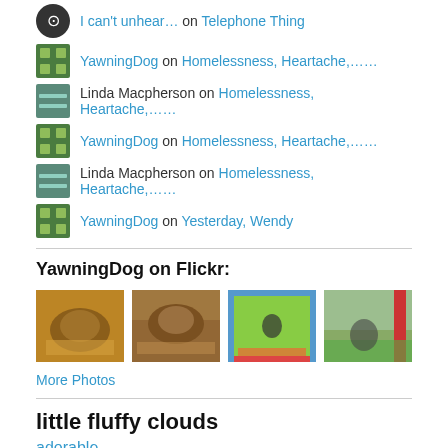I can't unhear… on Telephone Thing
YawningDog on Homelessness, Heartache,……
Linda Macpherson on Homelessness, Heartache,……
YawningDog on Homelessness, Heartache,……
Linda Macpherson on Homelessness, Heartache,……
YawningDog on Yesterday, Wendy
YawningDog on Flickr:
[Figure (photo): Four Flickr thumbnail photos of dogs]
More Photos
little fluffy clouds
adorable